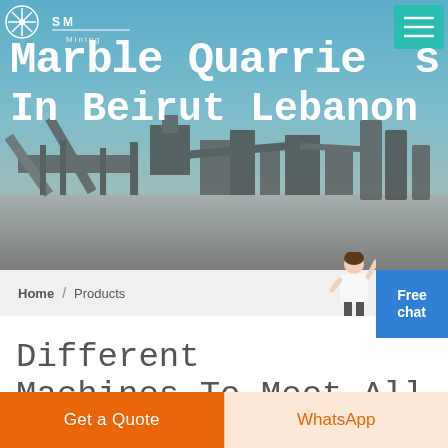[Figure (screenshot): Hero banner showing industrial mining/quarry machinery site with blue sky background. Logo with snowflake icon, 'SM Mining' text and hamburger menu button with teal background.]
Marble Quarries In Beirut Lebanon
Home / Products
[Figure (photo): Customer service representative photo, woman in white shirt pointing upward]
Different Machines To Meet All Need
[Figure (photo): Interior of industrial factory/warehouse with steel roof structure, blue tones]
Get a Quote
WhatsApp